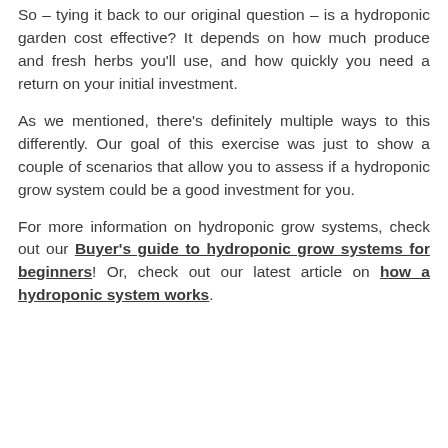So – tying it back to our original question – is a hydroponic garden cost effective? It depends on how much produce and fresh herbs you'll use, and how quickly you need a return on your initial investment.
As we mentioned, there's definitely multiple ways to this differently. Our goal of this exercise was just to show a couple of scenarios that allow you to assess if a hydroponic grow system could be a good investment for you.
For more information on hydroponic grow systems, check out our Buyer's guide to hydroponic grow systems for beginners! Or, check out our latest article on how a hydroponic system works.